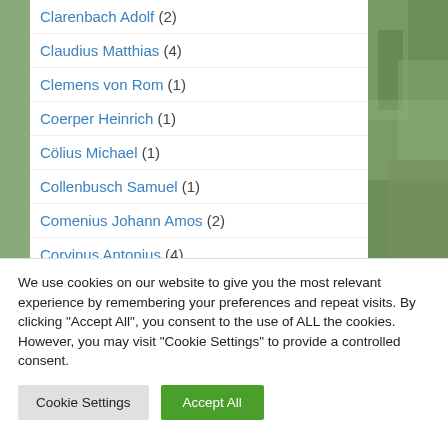Clarenbach Adolf (2)
Claudius Matthias (4)
Clemens von Rom (1)
Coerper Heinrich (1)
Cölius Michael (1)
Collenbusch Samuel (1)
Comenius Johann Amos (2)
Corvinus Antonius (4)
Couard Christian Ludwig (1)
We use cookies on our website to give you the most relevant experience by remembering your preferences and repeat visits. By clicking "Accept All", you consent to the use of ALL the cookies. However, you may visit "Cookie Settings" to provide a controlled consent.